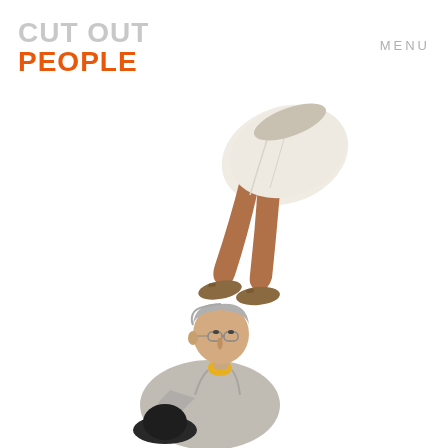CUT OUT PEOPLE
MENU
[Figure (photo): Cut-out photo of a person's lower body — legs and feet wearing sandals and white shorts, photographed from above at an angle, floating on white background]
[Figure (photo): Cut-out photo of an older man with grey hair and glasses, wearing a grey jacket and holding a dark hat, viewed from a slightly elevated angle, on white background]